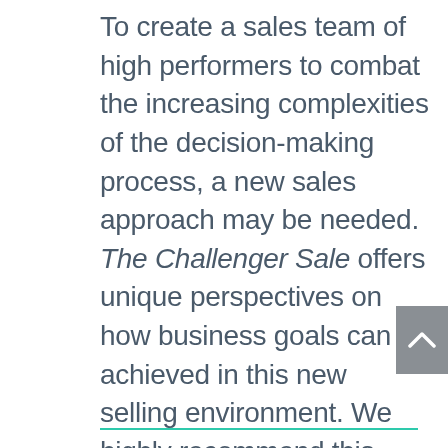To create a sales team of high performers to combat the increasing complexities of the decision-making process, a new sales approach may be needed. The Challenger Sale offers unique perspectives on how business goals can be achieved in this new selling environment. We highly recommend this book to any sales manager looking to spark some fire in his team.